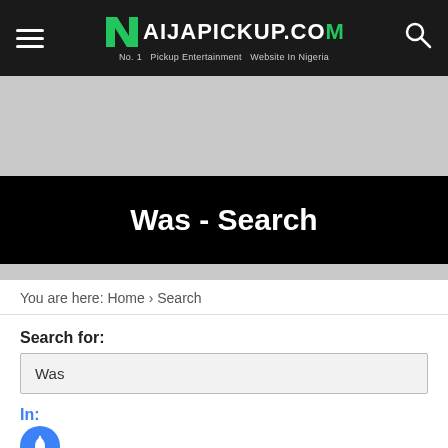NaijaPickup.com — No. 1 Pickup Entertainment Website In Nigeria
[Figure (other): Gray advertisement banner placeholder]
Was - Search
You are here: Home › Search
Search for:
Was
In:
Everywhere